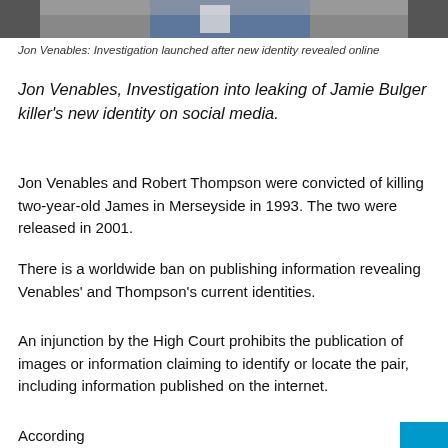[Figure (photo): Partial photograph showing a person, cropped at top of page]
Jon Venables: Investigation launched after new identity revealed online
Jon Venables, Investigation into leaking of Jamie Bulger killer's new identity on social media.
Jon Venables and Robert Thompson were convicted of killing two-year-old James in Merseyside in 1993. The two were released in 2001.
There is a worldwide ban on publishing information revealing Venables' and Thompson's current identities.
An injunction by the High Court prohibits the publication of images or information claiming to identify or locate the pair, including information published on the internet.
According to The Guardian, ahead of the injunction, including